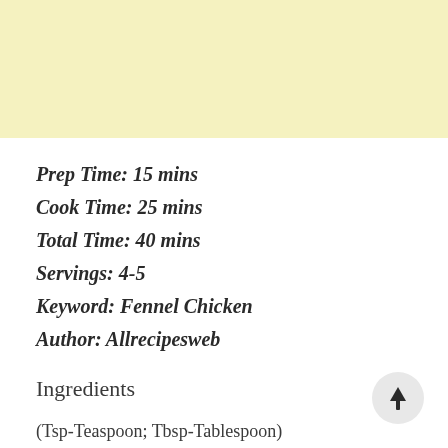[Figure (other): Yellow/cream colored header band at top of page]
Prep Time: 15 mins
Cook Time: 25 mins
Total Time: 40 mins
Servings: 4-5
Keyword: Fennel Chicken
Author: Allrecipesweb
Ingredients
(Tsp-Teaspoon; Tbsp-Tablespoon)
Chicken – 1 Kg (curry cut pieces with bones)